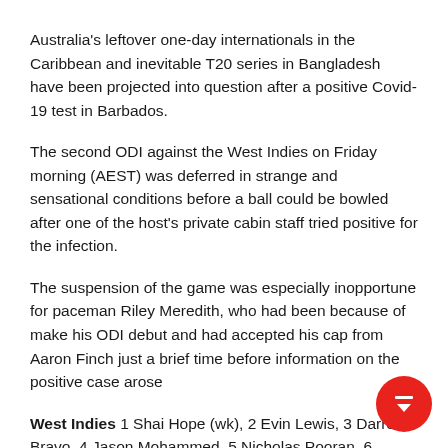Australia's leftover one-day internationals in the Caribbean and inevitable T20 series in Bangladesh have been projected into question after a positive Covid-19 test in Barbados.
The second ODI against the West Indies on Friday morning (AEST) was deferred in strange and sensational conditions before a ball could be bowled after one of the host's private cabin staff tried positive for the infection.
The suspension of the game was especially inopportune for paceman Riley Meredith, who had been because of make his ODI debut and had accepted his cap from Aaron Finch just a brief time before information on the positive case arose
West Indies 1 Shai Hope (wk), 2 Evin Lewis, 3 Darren Bravo, 4 Jason Mohammed, 5 Nicholas Pooran, 6 Kieron Pollard, 7 Jason Holder, 8 Alzarri Joseph, 9 Hayden Walsh Jr, 10 Akeal Hosein, 11 Sheldon